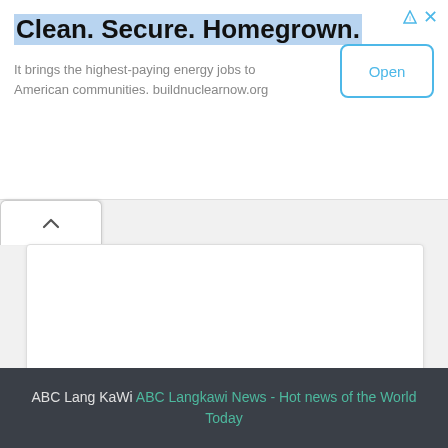Clean. Secure. Homegrown.
It brings the highest-paying energy jobs to American communities. buildnuclearnow.org
[Figure (screenshot): Open button for advertisement]
[Figure (other): Collapsible tab with chevron up arrow and empty white card]
ABC Lang KaWi ABC Langkawi News - Hot news of the World Today